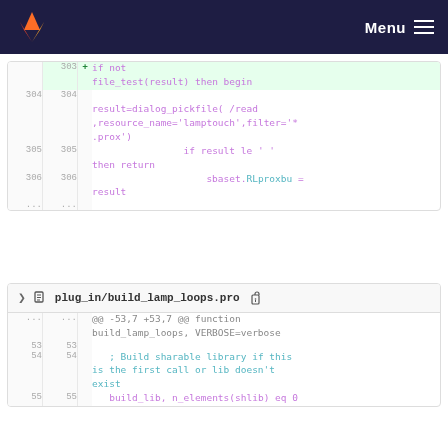GitLab navigation bar with logo and Menu
[Figure (screenshot): Code diff panel showing lines 303-306 with added line 303 'if not file_test(result) then begin', line 304 result=dialog_pickfile call, line 305 if result le check, line 306 sbaset.RLproxbu assignment]
[Figure (screenshot): Code diff panel for plug_in/build_lamp_loops.pro showing lines 53-55 with build library comment]